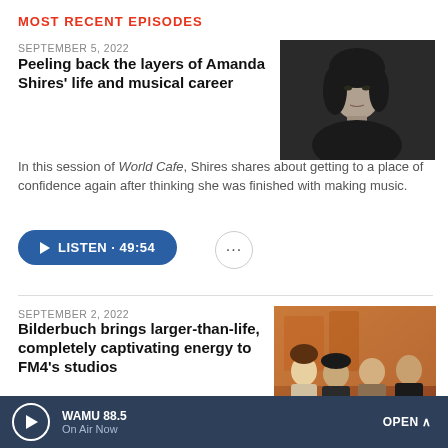MOST RECENT EPISODES
SEPTEMBER 5, 2022
Peeling back the layers of Amanda Shires' life and musical career
[Figure (photo): Black and white portrait of Amanda Shires, a woman with shoulder-length dark wavy hair, looking directly at the camera, wearing a dark halter top.]
In this session of World Cafe, Shires shares about getting to a place of confidence again after thinking she was finished with making music.
LISTEN · 49:54
SEPTEMBER 2, 2022
Bilderbuch brings larger-than-life, completely captivating energy to FM4's studios
[Figure (photo): Color photo of four band members (Bilderbuch) standing in a recording studio with warm orange lighting and instruments visible in the background.]
We didn't realize quite how
WAMU 88.5
On Air Now